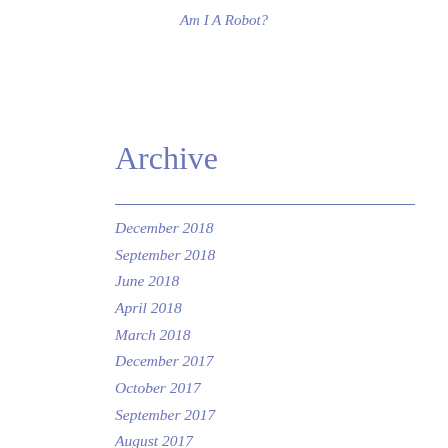Am I A Robot?
Archive
December 2018
September 2018
June 2018
April 2018
March 2018
December 2017
October 2017
September 2017
August 2017
May 2017
April 2017
March 2017
February 2017